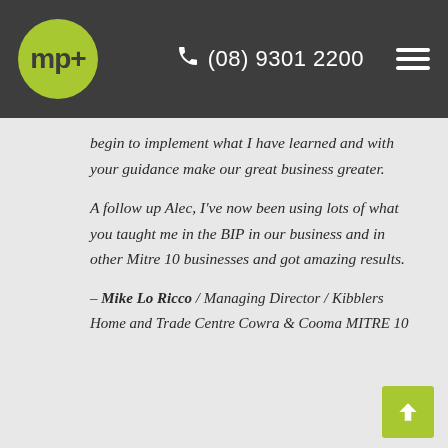[Figure (logo): mp+ logo: green circle with 'mp+' text in dark, header bar with phone number (08) 9301 2200 and hamburger menu icon]
begin to implement what I have learned and with your guidance make our great business greater.

A follow up Alec, I've now been using lots of what you taught me in the BIP in our business and in other Mitre 10 businesses and got amazing results.
– Mike Lo Ricco / Managing Director / Kibblers Home and Trade Centre Cowra & Cooma MITRE 10